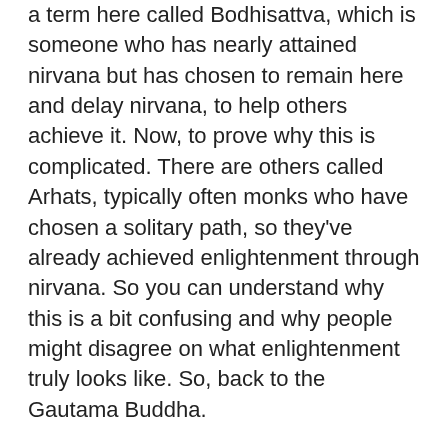a term here called Bodhisattva, which is someone who has nearly attained nirvana but has chosen to remain here and delay nirvana, to help others achieve it. Now, to prove why this is complicated. There are others called Arhats, typically often monks who have chosen a solitary path, so they've already achieved enlightenment through nirvana. So you can understand why this is a bit confusing and why people might disagree on what enlightenment truly looks like. So, back to the Gautama Buddha.
.
He taught these lessons and helped others to understand enlightenment and how to achieve it. For a long time, these lessons were an oral tradition, meaning they were just passed on by spoken word until people started to transcribe his lessons almost 400 years later. Because of this lack of written text, Buddha's personal life and even